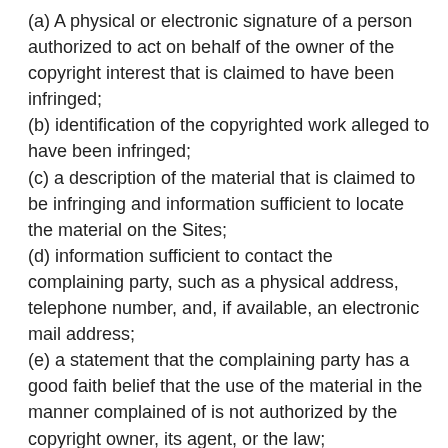(a) A physical or electronic signature of a person authorized to act on behalf of the owner of the copyright interest that is claimed to have been infringed;
(b) identification of the copyrighted work alleged to have been infringed;
(c) a description of the material that is claimed to be infringing and information sufficient to locate the material on the Sites;
(d) information sufficient to contact the complaining party, such as a physical address, telephone number, and, if available, an electronic mail address;
(e) a statement that the complaining party has a good faith belief that the use of the material in the manner complained of is not authorized by the copyright owner, its agent, or the law;